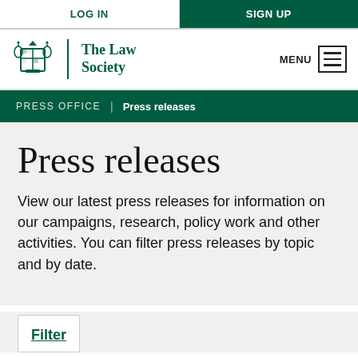LOG IN | SIGN UP
[Figure (logo): The Law Society crest logo with text 'The Law Society' and a hamburger menu button labeled MENU]
PRESS OFFICE | Press releases
Press releases
View our latest press releases for information on our campaigns, research, policy work and other activities. You can filter press releases by topic and by date.
Filter